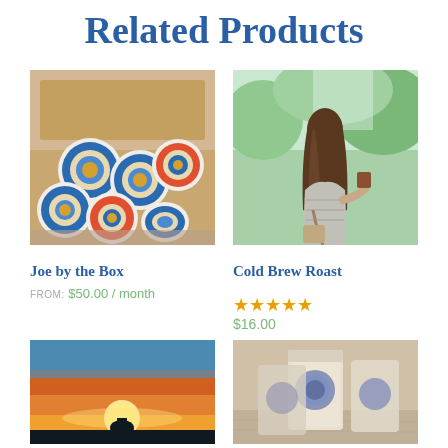Related Products
[Figure (photo): Box of branded coffee K-cups with blue and orange circular logos piled together]
[Figure (photo): Woman with long brown hair seen from behind holding a coffee cup, with green trees in background]
Joe by the Box
FROM: $50.00 / month
Cold Brew Roast
★★★★★ $16.00
[Figure (photo): Sunset scene with orange sky and silhouette of person]
[Figure (photo): Coffee bags with blue logo on wooden surface]